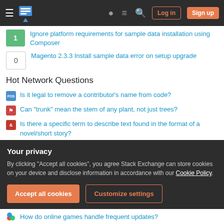Stack Exchange navigation bar with Log in and Sign up buttons
1 — Ignore platform requirements for sample data installation using Composer
0 — Magento 2.3.3 Install sample data error on setup upgrade
Hot Network Questions
Is it legal to remove a contributor's name from code?
Can "trunk" mean the stem of any plant, not just trees?
Is there a specific term to describe text found in the format of a novel/short story?
How much of the second SLS has been built?
DC saturation current of a power transformer of a given VA rating
Your privacy
By clicking "Accept all cookies", you agree Stack Exchange can store cookies on your device and disclose information in accordance with our Cookie Policy.
How do online games handle frequent updates?